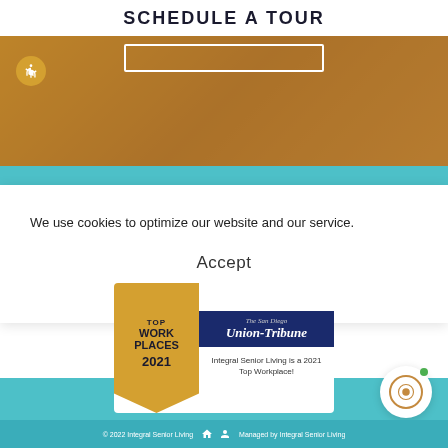SCHEDULE A TOUR
[Figure (photo): Hero background photo of elderly person with warm golden/amber color overlay, with white outlined form box and accessibility button]
We use cookies to optimize our website and our service.
Accept
Privacy Notice   Privacy Notice
[Figure (other): Top Work Places 2021 award badge featuring The San Diego Union-Tribune logo and text: Integral Senior Living is a 2021 Top Workplace!]
© 2022 Integral Senior Living   Managed by Integral Senior Living